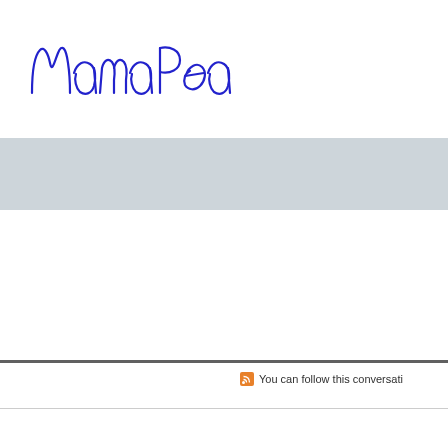[Figure (illustration): Handwritten cursive signature reading 'Mama Pea' in blue ink]
[Figure (other): Light gray horizontal band/bar spanning full width]
You can follow this conversati
[Figure (other): Thin horizontal divider line]